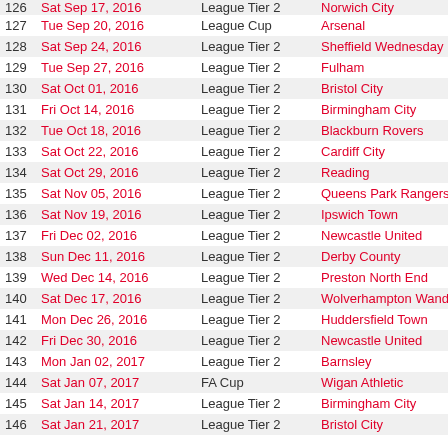| # | Date | Competition | Opponent |
| --- | --- | --- | --- |
| 126 | Sat Sep 17, 2016 | League Tier 2 | Norwich City |
| 127 | Tue Sep 20, 2016 | League Cup | Arsenal |
| 128 | Sat Sep 24, 2016 | League Tier 2 | Sheffield Wednesday |
| 129 | Tue Sep 27, 2016 | League Tier 2 | Fulham |
| 130 | Sat Oct 01, 2016 | League Tier 2 | Bristol City |
| 131 | Fri Oct 14, 2016 | League Tier 2 | Birmingham City |
| 132 | Tue Oct 18, 2016 | League Tier 2 | Blackburn Rovers |
| 133 | Sat Oct 22, 2016 | League Tier 2 | Cardiff City |
| 134 | Sat Oct 29, 2016 | League Tier 2 | Reading |
| 135 | Sat Nov 05, 2016 | League Tier 2 | Queens Park Rangers |
| 136 | Sat Nov 19, 2016 | League Tier 2 | Ipswich Town |
| 137 | Fri Dec 02, 2016 | League Tier 2 | Newcastle United |
| 138 | Sun Dec 11, 2016 | League Tier 2 | Derby County |
| 139 | Wed Dec 14, 2016 | League Tier 2 | Preston North End |
| 140 | Sat Dec 17, 2016 | League Tier 2 | Wolverhampton Wanderers |
| 141 | Mon Dec 26, 2016 | League Tier 2 | Huddersfield Town |
| 142 | Fri Dec 30, 2016 | League Tier 2 | Newcastle United |
| 143 | Mon Jan 02, 2017 | League Tier 2 | Barnsley |
| 144 | Sat Jan 07, 2017 | FA Cup | Wigan Athletic |
| 145 | Sat Jan 14, 2017 | League Tier 2 | Birmingham City |
| 146 | Sat Jan 21, 2017 | League Tier 2 | Bristol City |